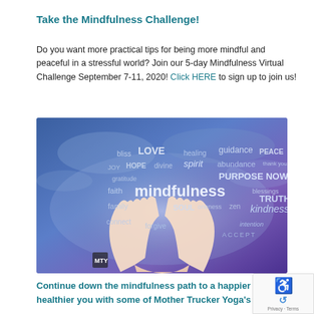Take the Mindfulness Challenge!
Do you want more practical tips for being more mindful and peaceful in a stressful world? Join our 5-day Mindfulness Virtual Challenge September 7-11, 2020! Click HERE to sign up to join us!
[Figure (photo): Word cloud image of mindfulness-related words (bliss, LOVE, healing, guidance, PEACE, JOY, HOPE, divine, spirit, abundance, thank you, gratitude, PURPOSE NOW, faith, mindfulness, blessings, TRUTH, family, SOUL, oneness, zen, kindness, connect, forgive, intention, ACCEPT) displayed over a blue/purple cloudy sky background with two hands raised upward. A small logo appears in the bottom-left corner.]
Continue down the mindfulness path to a happier and healthier you with some of Mother Trucker Yoga's other